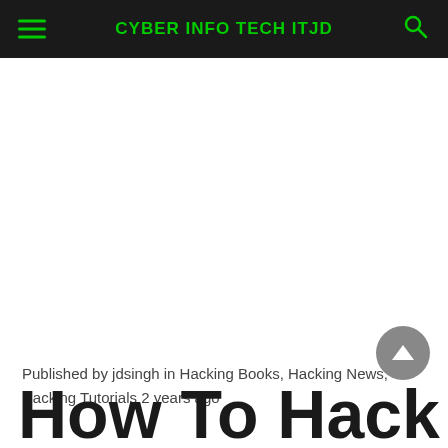CYBER INFO TECH ITJD
Published by jdsingh in Hacking Books, Hacking News, Hacking Tutorials 2 years ago
How To Hack